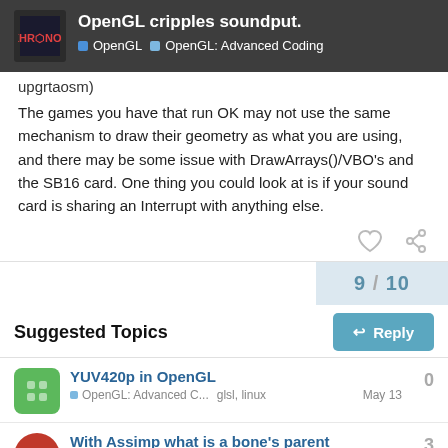OpenGL cripples soundput. | OpenGL | OpenGL: Advanced Coding
upgrtaosm)
The games you have that run OK may not use the same mechanism to draw their geometry as what you are using, and there may be some issue with DrawArrays()/VBO's and the SB16 card. One thing you could look at is if your sound card is sharing an Interrupt with anything else.
9 / 10
Suggested Topics
YUV420p in OpenGL
OpenGL: Advanced C... glsl, linux May 13 0
With Assimp what is a bone's parent